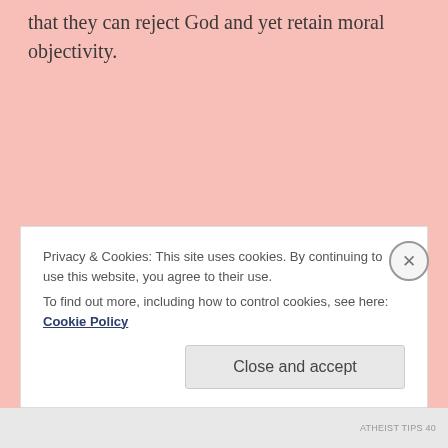that they can reject God and yet retain moral objectivity.
Privacy & Cookies: This site uses cookies. By continuing to use this website, you agree to their use. To find out more, including how to control cookies, see here: Cookie Policy
Close and accept